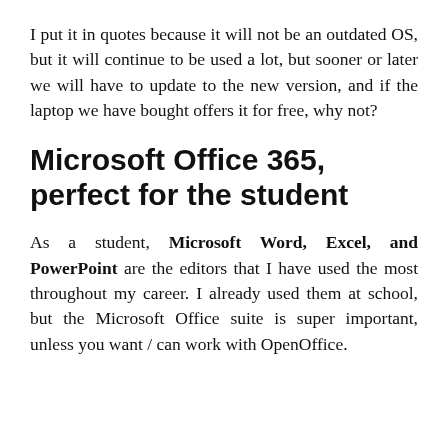I put it in quotes because it will not be an outdated OS, but it will continue to be used a lot, but sooner or later we will have to update to the new version, and if the laptop we have bought offers it for free, why not?
Microsoft Office 365, perfect for the student
As a student, Microsoft Word, Excel, and PowerPoint are the editors that I have used the most throughout my career. I already used them at school, but the Microsoft Office suite is super important, unless you want / can work with OpenOffice.